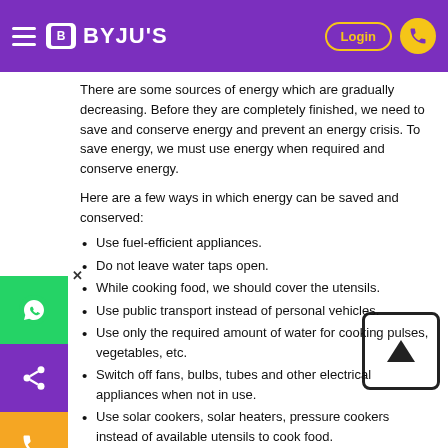BYJU'S
There are some sources of energy which are gradually decreasing. Before they are completely finished, we need to save and conserve energy and prevent an energy crisis. To save energy, we must use energy when required and conserve energy.
Here are a few ways in which energy can be saved and conserved:
Use fuel-efficient appliances.
Do not leave water taps open.
While cooking food, we should cover the utensils.
Use public transport instead of personal vehicles.
Use only the required amount of water for cooking pulses, vegetables, etc.
Switch off fans, bulbs, tubes and other electrical appliances when not in use.
Use solar cookers, solar heaters, pressure cookers instead of available utensils to cook food.